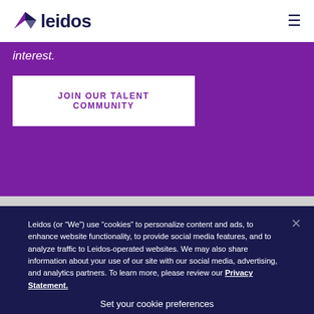leidos
interest.
JOIN OUR TALENT COMMUNITY
Leidos (or “We”) use “cookies” to personalize content and ads, to enhance website functionality, to provide social media features, and to analyze traffic to Leidos-operated websites. We may also share information about your use of our site with our social media, advertising, and analytics partners. To learn more, please review our Privacy Statement.
Set your cookie preferences